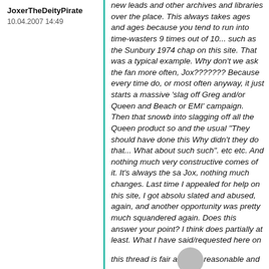JoxerTheDeityPirate
10.04.2007 14:49
new leads and other archives and libraries over the place. This always takes ages and ages because you tend to run into time-wasters 9 times out of 10... such as the Sunbury 1974 chap on this site. That was a typical example. Why don't we ask the fan more often, Jox??????? Because every time do, or most often anyway, it just starts a massive 'slag off Greg and/or Queen and Beach or EMI' campaign. Then that snowb into slagging off all the Queen product so and the usual "They should have done this Why didn't they do that... What about such such". etc etc. And nothing much very constructive comes of it. It's always the sa Jox, nothing much changes. Last time I appealed for help on this site, I got absolu slated and abused, again, and another opportunity was pretty much squandered again. Does this answer your point? I think does partially at least. What I have said/requested here on this thread is fair a reasonable and already there has been a